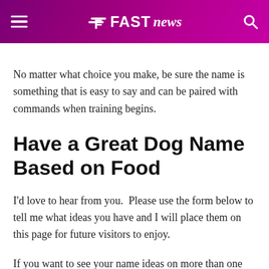FAST news
No matter what choice you make, be sure the name is something that is easy to say and can be paired with commands when training begins.
Have a Great Dog Name Based on Food
I'd love to hear from you.  Please use the form below to tell me what ideas you have and I will place them on this page for future visitors to enjoy.
If you want to see your name ideas on more than one page, please indicate on the form where your names